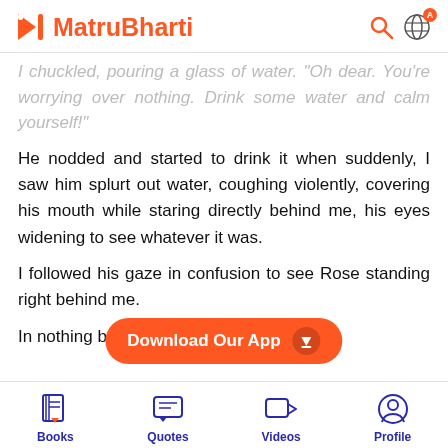MatruBharti
I chuckled, pouring a glass of water. "Oh dear. You're worrying over nothing. Drink some water and calm yourself!"
He nodded and started to drink it when suddenly, I saw him splurt out water, coughing violently, covering his mouth while staring directly behind me, his eyes widening to see whatever it was.
I followed his gaze in confusion to see Rose standing right behind me.
In nothing bu...
[Figure (screenshot): Download Our App button (orange pill-shaped button with download arrow icon)]
Books  Quotes  Videos  Profile